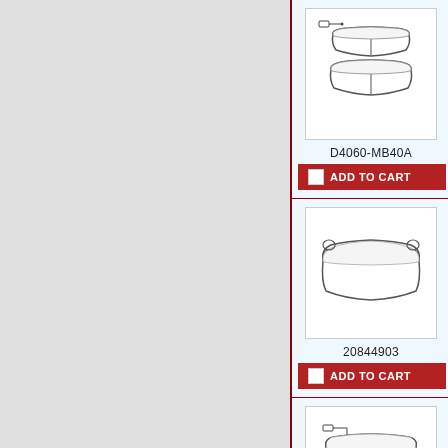[Figure (illustration): Brake pad pair illustration with wear indicator sensor for part D4060-MB40A]
D4060-MB40A
ADD TO CART
[Figure (illustration): Single brake pad illustration for part 20844903]
20844903
ADD TO CART
[Figure (illustration): Brake pad with internal fins/slots and wear indicator sensor for part FCV1161]
FCV1161
ADD TO CART